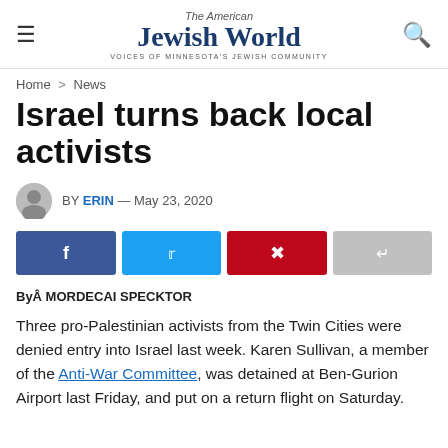The American Jewish World — VOICES OF MINNESOTA'S JEWISH COMMUNITY
Home > News
Israel turns back local activists
BY ERIN — May 23, 2020
[Figure (other): Social sharing buttons: Facebook, Twitter, Pinterest, Share]
ByÂ MORDECAI SPECKTOR
Three pro-Palestinian activists from the Twin Cities were denied entry into Israel last week. Karen Sullivan, a member of the Anti-War Committee, was detained at Ben-Gurion Airport last Friday, and put on a return flight on Saturday.